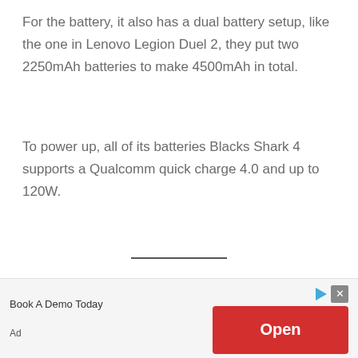For the battery, it also has a dual battery setup, like the one in Lenovo Legion Duel 2, they put two 2250mAh batteries to make 4500mAh in total.
To power up, all of its batteries Blacks Shark 4 supports a Qualcomm quick charge 4.0 and up to 120W.
5. Razer Phone 2
The Best Android Phone For Gaming By Razer
[Figure (other): Advertisement banner with 'Book A Demo Today' text, an 'Open' red button, play icon, and close icon, with 'Ad' label at bottom left.]